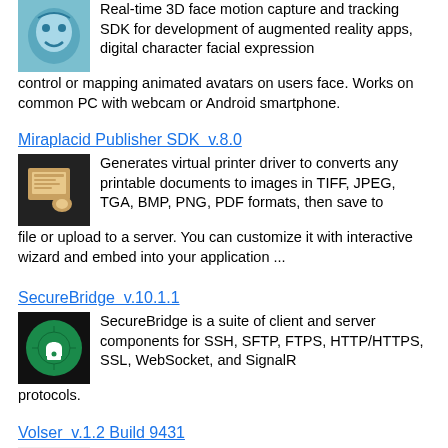Real-time 3D face motion capture and tracking SDK for development of augmented reality apps, digital character facial expression control or mapping animated avatars on users face. Works on common PC with webcam or Android smartphone.
Miraplacid Publisher SDK  v.8.0
Generates virtual printer driver to converts any printable documents to images in TIFF, JPEG, TGA, BMP, PNG, PDF formats, then save to file or upload to a server. You can customize it with interactive wizard and embed into your application ...
SecureBridge  v.10.1.1
SecureBridge is a suite of client and server components for SSH, SFTP, FTPS, HTTP/HTTPS, SSL, WebSocket, and SignalR protocols.
Volser  v.1.2 Build 9431
Volser is a java class that gets the 4-byte 32-bit binary volume serial number of a Windows disk drive assigned when it is formatted to provide and almost unique id. Don't confuse this with the volser(, the string name, or the manufacturer's disk ...
Mirrakey  v.1.3.0